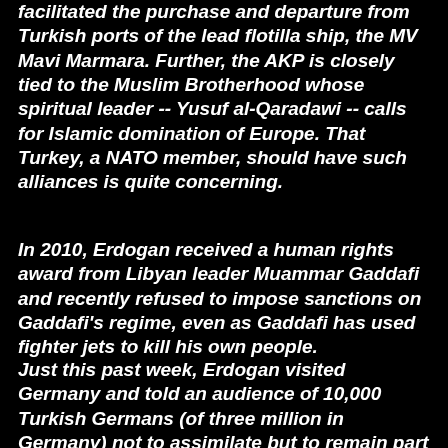facilitated the purchase and departure from Turkish ports of the lead flotilla ship, the MV Mavi Marmara. Further, the AKP is closely tied to the Muslim Brotherhood whose spiritual leader -- Yusuf al-Qaradawi -- calls for Islamic domination of Europe. That Turkey, a NATO member, should have such alliances is quite concerning.
In 2010, Erdogan received a human rights award from Libyan leader Muammar Gaddafi and recently refused to impose sanctions on Gaddafi's regime, even as Gaddafi has used fighter jets to kill his own people.
Just this past week, Erdogan visited Germany and told an audience of 10,000 Turkish Germans (of three million in Germany) not to assimilate but to remain part of Turkey. Turkey has used Germany as a strategic base